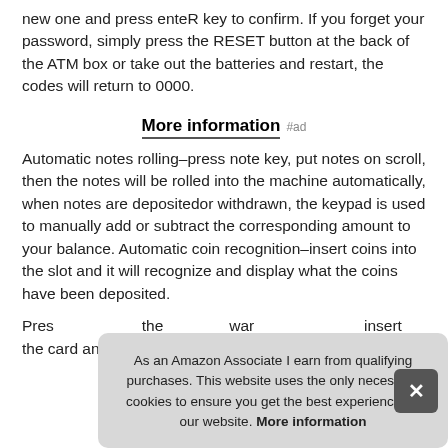new one and press enteR key to confirm. If you forget your password, simply press the RESET button at the back of the ATM box or take out the batteries and restart, the codes will return to 0000.
More information #ad
Automatic notes rolling–press note key, put notes on scroll, then the notes will be rolled into the machine automatically, when notes are depositedor withdrawn, the keypad is used to manually add or subtract the corresponding amount to your balance. Automatic coin recognition–insert coins into the slot and it will recognize and display what the coins have been deposited.
Pres the card and enter 4-digit password, the LCD screen
As an Amazon Associate I earn from qualifying purchases. This website uses the only necessary cookies to ensure you get the best experience on our website. More information